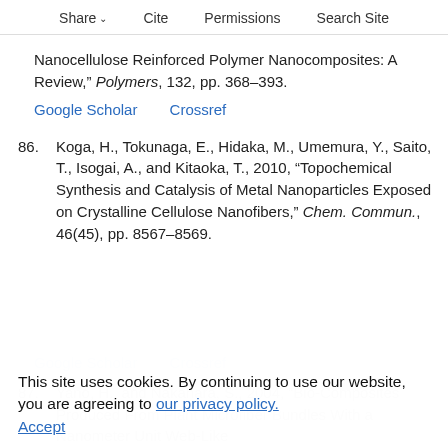Share  Cite  Permissions  Search Site
Nanocellulose Reinforced Polymer Nanocomposites: A Review," Polymers, 132, pp. 368–393.
Google Scholar    Crossref
86. Koga, H., Tokunaga, E., Hidaka, M., Umemura, Y., Saito, T., Isogai, A., and Kitaoka, T., 2010, "Topochemical Synthesis and Catalysis of Metal Nanoparticles Exposed on Crystalline Cellulose Nanofibers," Chem. Commun., 46(45), pp. 8567–8569.
Google Scholar    Crossref
87. Yano, H., and Nakahara, S., 2004, "Bio-Composites Produced From Plant Microfiber Bundles With a Nanometer Unit Web-Like
This site uses cookies. By continuing to use our website, you are agreeing to our privacy policy.
Accept